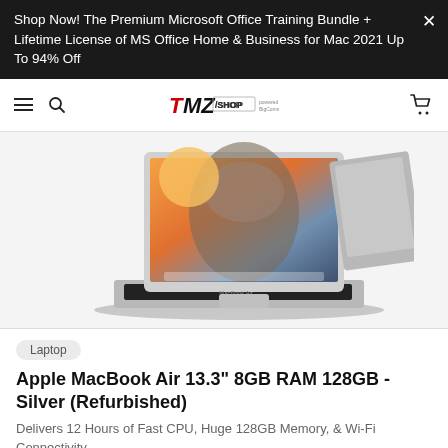Shop Now! The Premium Microsoft Office Training Bundle + Lifetime License of MS Office Home & Business for Mac 2021 Up To 94% Off
[Figure (logo): TMZ Shop logo with navigation bar including hamburger menu, search icon, TMZ Shop logo, and cart icon]
[Figure (photo): Apple MacBook Air 13.3 inch laptop open showing Yosemite wallpaper, viewed from slight angle with back of another MacBook visible on right]
Laptop
Apple MacBook Air 13.3" 8GB RAM 128GB - Silver (Refurbished)
Delivers 12 Hours of Fast CPU, Huge 128GB Memory, & Wi-Fi Connectivity
$413.99  $1,599.00